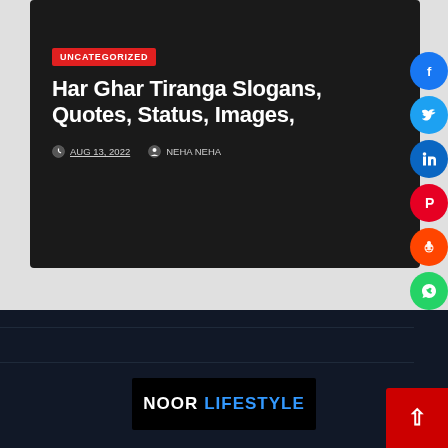[Figure (screenshot): Website screenshot showing an article card with dark background, category tag, title, and metadata on a light gray background, with social media share buttons on the right sidebar and a dark footer with Noor Lifestyle logo.]
UNCATEGORIZED
Har Ghar Tiranga Slogans, Quotes, Status, Images,
AUG 13, 2022   NEHA NEHA
[Figure (logo): NOOR LIFESTYLE logo on black background, NOOR in white and LIFESTYLE in blue]